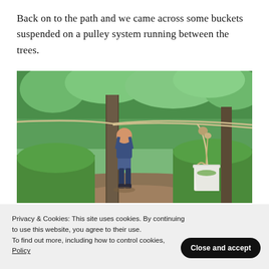Back on to the path and we came across some buckets suspended on a pulley system running between the trees.
[Figure (photo): A child standing on a woodland path next to a tree, with ropes forming a pulley system suspended between the trees. A white bucket hangs from a knotted rope on the right side. The background shows lush green woodland.]
Privacy & Cookies: This site uses cookies. By continuing to use this website, you agree to their use.
To find out more, including how to control cookies, see here: Cookie Policy
Close and accept